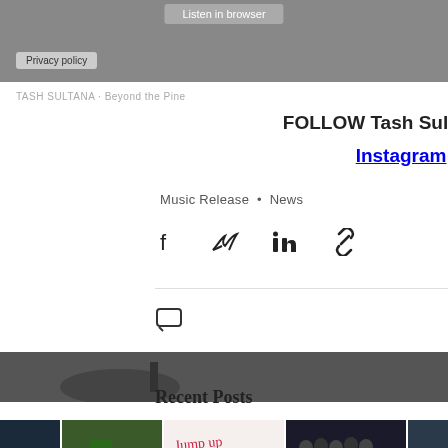Listen in browser
Privacy policy
TASH SULTANA · Beyond the Pine
FOLLOW Tash Sultana | Facebook | Instagram | Website
Music Release • News
[Figure (infographic): Social share icons: Facebook, Twitter, LinkedIn, and link/chain icon]
[Figure (infographic): Comment icon on left, 3 likes with heart icon on right]
Recent Posts
See All
[Figure (photo): Row of thumbnail images for recent posts]